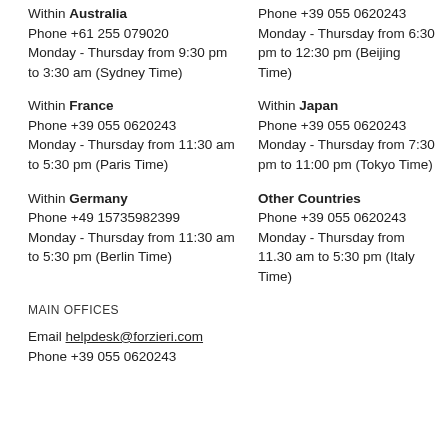Within Australia
Phone +61 255 079020
Monday - Thursday from 9:30 pm to 3:30 am (Sydney Time)
Phone +39 055 0620243
Monday - Thursday from 6:30 pm to 12:30 pm (Beijing Time)
Within France
Phone +39 055 0620243
Monday - Thursday from 11:30 am to 5:30 pm (Paris Time)
Within Japan
Phone +39 055 0620243
Monday - Thursday from 7:30 pm to 11:00 pm (Tokyo Time)
Within Germany
Phone +49 15735982399
Monday - Thursday from 11:30 am to 5:30 pm (Berlin Time)
Other Countries
Phone +39 055 0620243
Monday - Thursday from 11.30 am to 5:30 pm (Italy Time)
MAIN OFFICES
Email helpdesk@forzieri.com
Phone +39 055 0620243